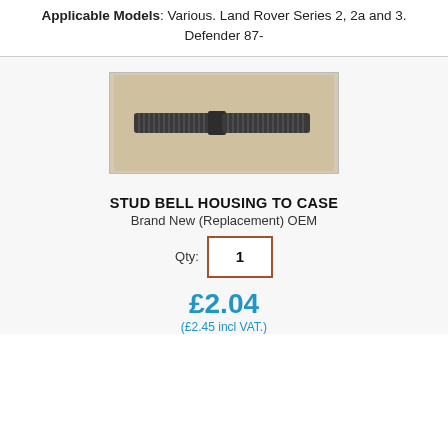Applicable Models: Various. Land Rover Series 2, 2a and 3. Defender 87-
[Figure (photo): A metal threaded stud bolt (bell housing to case) photographed against a tan/beige background. The stud is dark grey/black and has threading on both ends with a smooth hexagonal section in the middle.]
STUD BELL HOUSING TO CASE
Brand New (Replacement) OEM
Qty: 1
£2.04
(£2.45 incl VAT.)